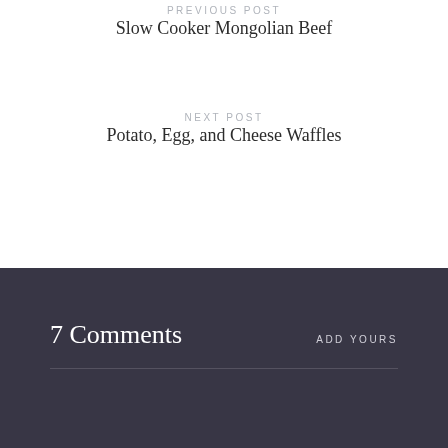PREVIOUS POST
Slow Cooker Mongolian Beef
NEXT POST
Potato, Egg, and Cheese Waffles
7 Comments
ADD YOURS